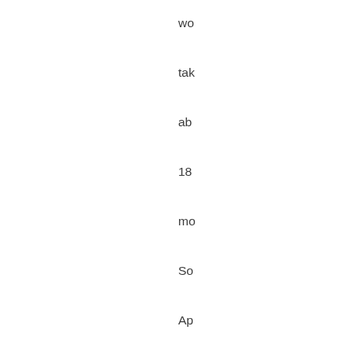wo
tak
ab
18
mo
So
Ap
ha
be
in
mo
ph
ha
sin
ea
20
In